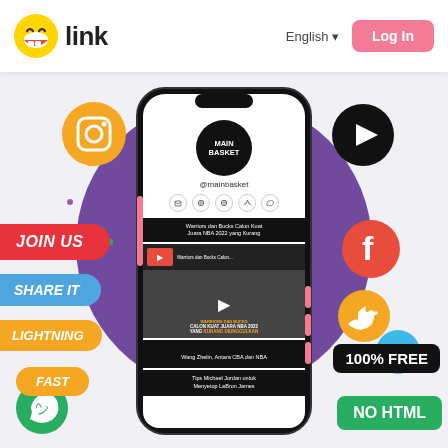[Figure (screenshot): Website header with emoji logo, 'link' text, English language selector, and pink Log In button]
[Figure (illustration): Marketing illustration showing a smartphone with 'Main Basket' link-in-bio page, surrounded by social media icons (Instagram, YouTube, Facebook, Twitter, Pinterest, WhatsApp), colorful labels (JOIN US, SHARE IT, LIGHTNING, FAST), and badges (100% FREE, NO HTML) on a purple/grey circular background]